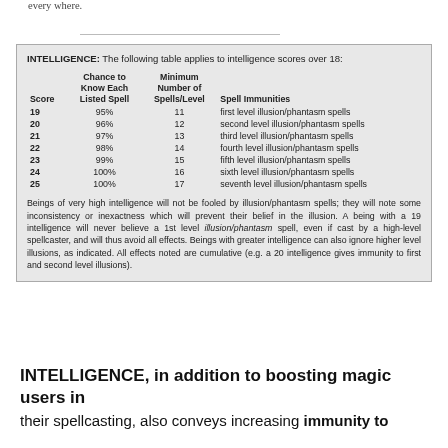| Score | Chance to Know Each Listed Spell | Minimum Number of Spells/Level | Spell Immunities |
| --- | --- | --- | --- |
| 19 | 95% | 11 | first level illusion/phantasm spells |
| 20 | 96% | 12 | second level illusion/phantasm spells |
| 21 | 97% | 13 | third level illusion/phantasm spells |
| 22 | 98% | 14 | fourth level illusion/phantasm spells |
| 23 | 99% | 15 | fifth level illusion/phantasm spells |
| 24 | 100% | 16 | sixth level illusion/phantasm spells |
| 25 | 100% | 17 | seventh level illusion/phantasm spells |
Beings of very high intelligence will not be fooled by illusion/phantasm spells; they will note some inconsistency or inexactness which will prevent their belief in the illusion. A being with a 19 intelligence will never believe a 1st level illusion/phantasm spell, even if cast by a high-level spellcaster, and will thus avoid all effects. Beings with greater intelligence can also ignore higher level illusions, as indicated. All effects noted are cumulative (e.g. a 20 intelligence gives immunity to first and second level illusions).
INTELLIGENCE, in addition to boosting magic users in their spellcasting, also conveys increasing immunity to